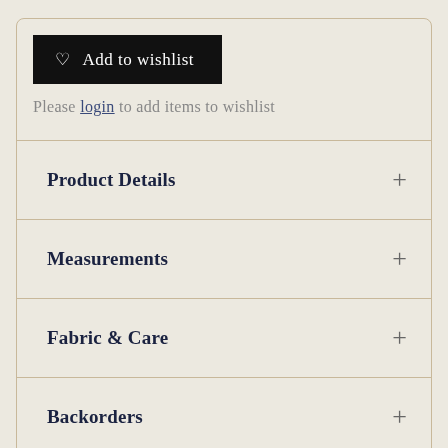♡  Add to wishlist
Please login to add items to wishlist
Product Details
Measurements
Fabric & Care
Backorders
Share